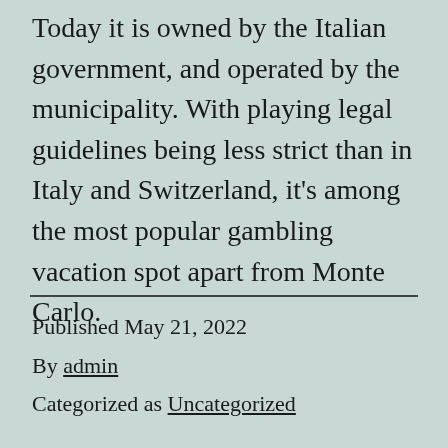Today it is owned by the Italian government, and operated by the municipality. With playing legal guidelines being less strict than in Italy and Switzerland, it's among the most popular gambling vacation spot apart from Monte Carlo.
Published May 21, 2022
By admin
Categorized as Uncategorized